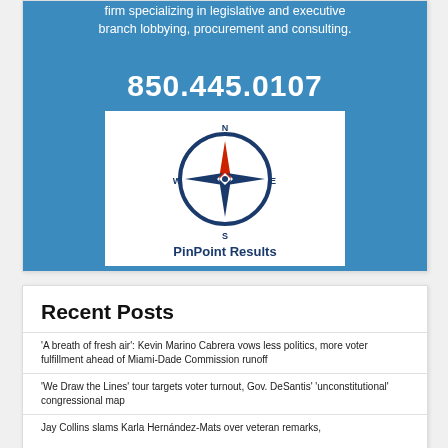[Figure (logo): PinPoint Results advertisement with blue background showing phone number 850.445.0107, compass rose logo, and company name. Text reads: firm specializing in legislative and executive branch lobbying, procurement and consulting.]
Recent Posts
'A breath of fresh air': Kevin Marino Cabrera vows less politics, more voter fulfillment ahead of Miami-Dade Commission runoff
'We Draw the Lines' tour targets voter turnout, Gov. DeSantis' 'unconstitutional' congressional map
Jay Collins slams Karla Hernández-Mats over veteran remarks,